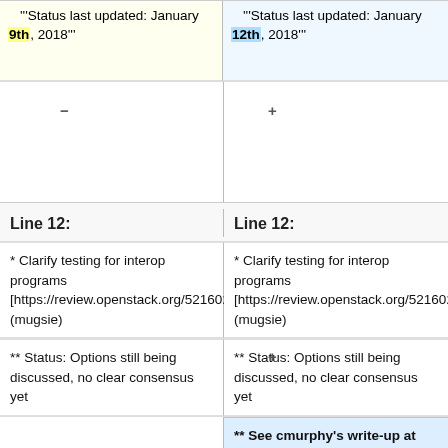'''Status last updated: January 9th, 2018'''
'''Status last updated: January 12th, 2018'''
Line 12:
Line 12:
* Clarify testing for interop programs [https://review.openstack.org/521602] (mugsie)
* Clarify testing for interop programs [https://review.openstack.org/521602] (mugsie)
** Status: Options still being discussed, no clear consensus yet
** Status: Options still being discussed, no clear consensus yet
** See cmurphy's write-up at http://lists.openstack.org/pipermail/openstack-dev/2018-January/126146.html